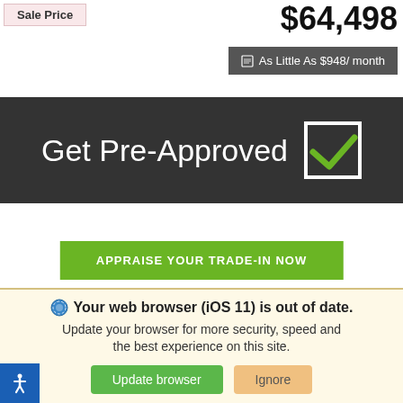Sale Price
$64,498
As Little As $948/ month
[Figure (infographic): Get Pre-Approved banner with checkbox icon on dark background]
APPRAISE YOUR TRADE-IN NOW
POWERED BY edmunds
We use cookies to optimize our website and our service.
Cookie Policy    Privacy Statement
Your web browser (iOS 11) is out of date. Update your browser for more security, speed and the best experience on this site.
Update browser
Ignore